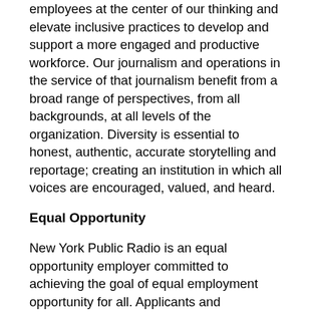employees at the center of our thinking and elevate inclusive practices to develop and support a more engaged and productive workforce. Our journalism and operations in the service of that journalism benefit from a broad range of perspectives, from all backgrounds, at all levels of the organization. Diversity is essential to honest, authentic, accurate storytelling and reportage; creating an institution in which all voices are encouraged, valued, and heard.
Equal Opportunity
New York Public Radio is an equal opportunity employer committed to achieving the goal of equal employment opportunity for all. Applicants and employees are considered and evaluated for positions without regard to mental or physical disability, race, creed, color, religion, gender, national origin, citizenship status, age, genetic information, military or veteran status, sexual orientation, marital status, employment status or any protected federal, state, or local status unrelated to the performance